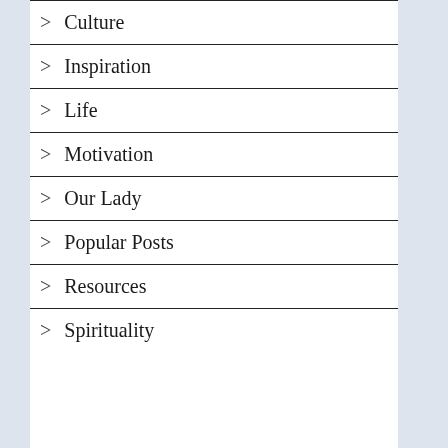> Culture
> Inspiration
> Life
> Motivation
> Our Lady
> Popular Posts
> Resources
> Spirituality